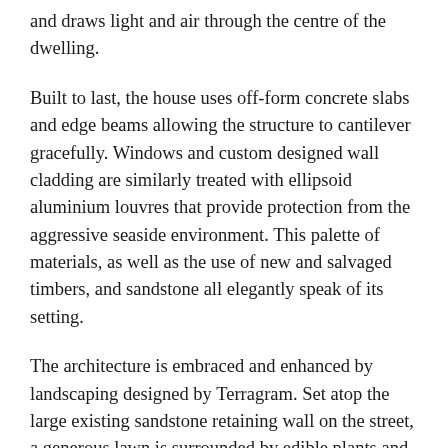and draws light and air through the centre of the dwelling.
Built to last, the house uses off-form concrete slabs and edge beams allowing the structure to cantilever gracefully. Windows and custom designed wall cladding are similarly treated with ellipsoid aluminium louvres that provide protection from the aggressive seaside environment. This palette of materials, as well as the use of new and salvaged timbers, and sandstone all elegantly speak of its setting.
The architecture is embraced and enhanced by landscaping designed by Terragram. Set atop the large existing sandstone retaining wall on the street, a generous lawn is surrounded by edible plants and trees. Olives, espaliered citrus, vegetables and herbs help stock the kitchen, and the scraps return to the chickens that roam the garden from their bespoke chook house. The public lane to the south has been dramatically improved with endemic flowering ground